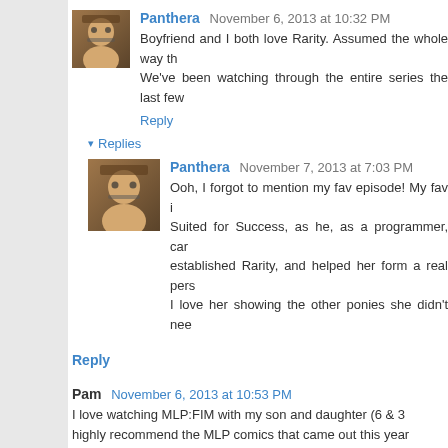Panthera  November 6, 2013 at 10:32 PM
Boyfriend and I both love Rarity. Assumed the whole way th... We've been watching through the entire series the last few...
Reply
▾ Replies
Panthera  November 7, 2013 at 7:03 PM
Ooh, I forgot to mention my fav episode! My fav i... Suited for Success, as he, as a programmer, car... established Rarity, and helped her form a real pers... I love her showing the other ponies she didn't nee...
Reply
Pam  November 6, 2013 at 10:53 PM
I love watching MLP:FIM with my son and daughter (6 & 3... highly recommend the MLP comics that came out this year... like Fluttershy. (yay!) Jeez, I love Fluttershy just for that... month!
Reply